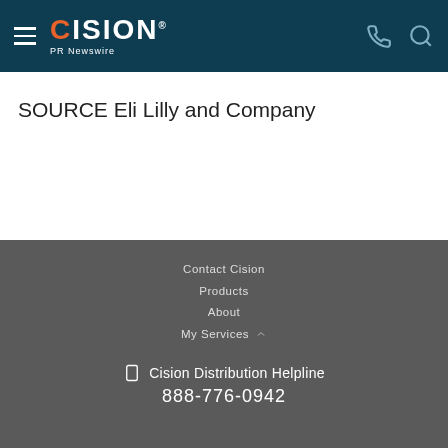CISION PR Newswire
SOURCE Eli Lilly and Company
Contact Cision
Products
About
My Services
Cision Distribution Helpline
888-776-0942
Terms of Use | Privacy Policy | Information Security Policy | Site Map | RSS | Cookie Settings
Copyright © 2022 Cision US Inc.